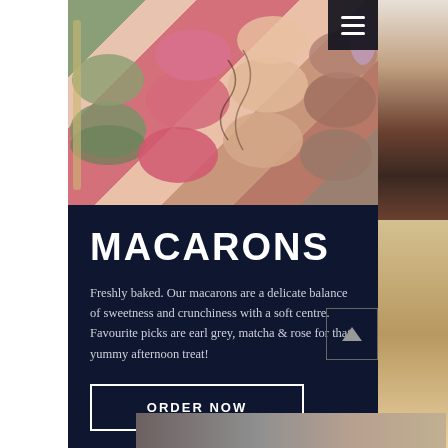[Figure (photo): A tray of colorful macarons in green, pink, beige, and brown, viewed from above, with a hamburger menu icon in the top-right corner]
MACARONS
Freshly baked. Our macarons are a delicate balance of sweetness and crunchiness with a soft centre. Favourite picks are earl grey, matcha & rose for that yummy afternoon treat!
[Figure (other): ORDER NOW button with white border on dark navy background]